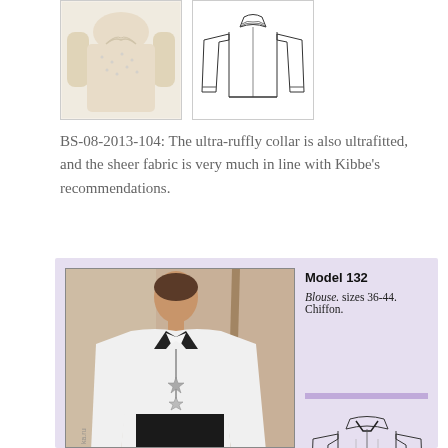[Figure (photo): Photo of a sheer ruffled blouse with lace details, and a technical sketch of the same blouse]
BS-08-2013-104: The ultra-ruffly collar is also ultrafitted, and the sheer fabric is very much in line with Kibbe's recommendations.
[Figure (photo): Fashion photo of a model wearing a white chiffon blouse with black collar trim and star necklace, alongside a sewing pattern illustration box. Model 132. Blouse: sizes 36-44. Chiffon.]